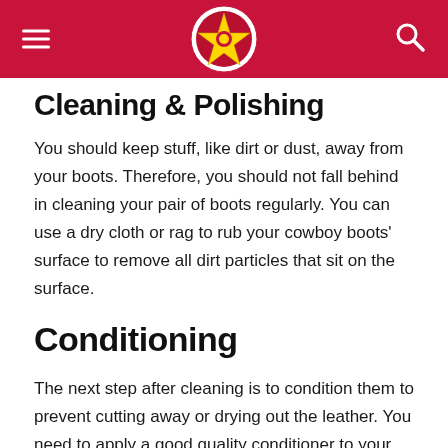[Navigation header with hamburger menu, logo, and search icon]
Cleaning & Polishing
You should keep stuff, like dirt or dust, away from your boots. Therefore, you should not fall behind in cleaning your pair of boots regularly. You can use a dry cloth or rag to rub your cowboy boots' surface to remove all dirt particles that sit on the surface.
Conditioning
The next step after cleaning is to condition them to prevent cutting away or drying out the leather. You need to apply a good quality conditioner to your cowboy boots so that the leather can maintain moisture and thus remain soft. But use a conditioner that is compatible with the leather of your boots...